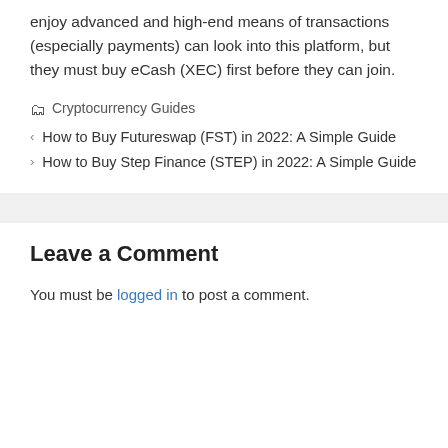enjoy advanced and high-end means of transactions (especially payments) can look into this platform, but they must buy eCash (XEC) first before they can join.
Cryptocurrency Guides
How to Buy Futureswap (FST) in 2022: A Simple Guide
How to Buy Step Finance (STEP) in 2022: A Simple Guide
Leave a Comment
You must be logged in to post a comment.